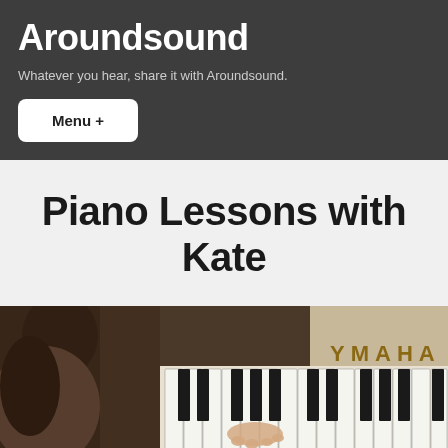Aroundsound
Whatever you hear, share it with Aroundsound.
Menu +
Piano Lessons with Kate
[Figure (photo): A woman playing a Yamaha piano, close-up of hands on black and white piano keys]